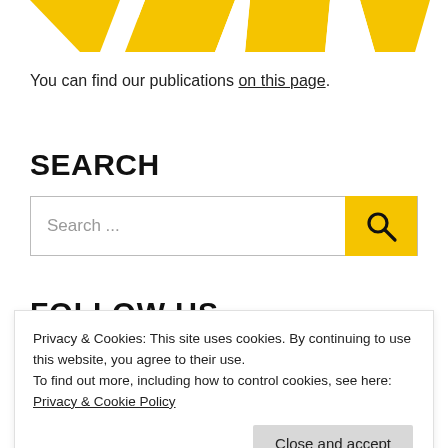[Figure (logo): Partial orange/yellow geometric logo, cut off at top of page]
You can find our publications on this page.
SEARCH
[Figure (screenshot): Search input box with placeholder 'Search ...' and a yellow search button with magnifying glass icon]
FOLLOW US
Privacy & Cookies: This site uses cookies. By continuing to use this website, you agree to their use.
To find out more, including how to control cookies, see here: Privacy & Cookie Policy
Or visit our social wall